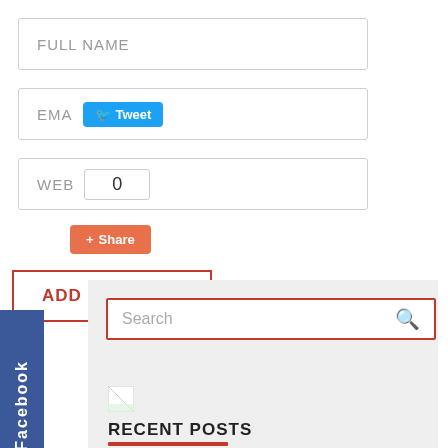FULL NAME
EMA Tweet
WEB 0 Share
ADD COMMENT
Facebook
Search
[Figure (other): Broken image placeholder icon]
RECENT POSTS